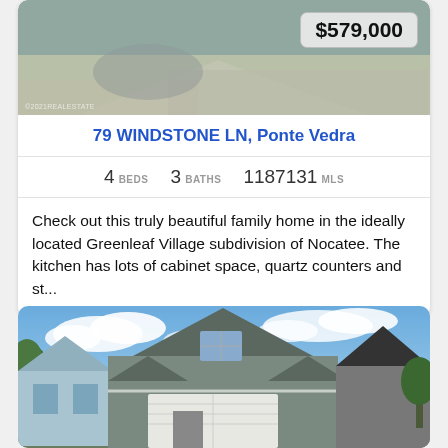[Figure (photo): Exterior photo of house driveway/patio with price badge showing $579,000]
79 WINDSTONE LN, Ponte Vedra
4 BEDS   3 BATHS   1187131 MLS
Check out this truly beautiful family home in the ideally located Greenleaf Village subdivision of Nocatee. The kitchen has lots of cabinet space, quartz counters and st...
[Figure (photo): Exterior front view of a craftsman-style house with garage, light blue and gray siding, under a blue sky with clouds]